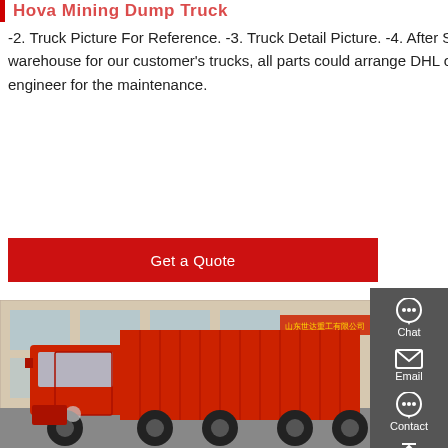Hova Mining Dump Truck
-2. Truck Picture For Reference. -3. Truck Detail Picture. -4. After Sales Service. Now Our company built one big spare parts warehouse for our customer's trucks, all parts could arrange DHL or TNT as soon. In addition, we also could arrange the engineer for the maintenance.
Get a Quote
[Figure (photo): Red heavy-duty dump truck (HOWO brand) parked in front of a commercial building with Chinese signage.]